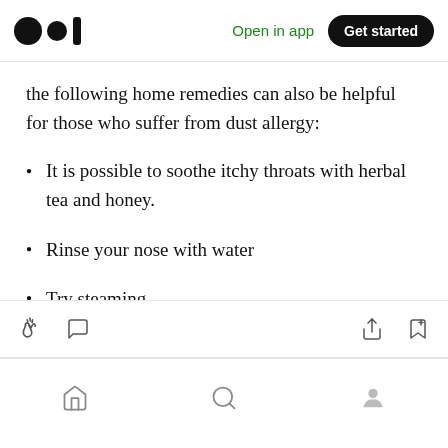Open in app | Get started
the following home remedies can also be helpful for those who suffer from dust allergy:
It is possible to soothe itchy throats with herbal tea and honey.
Rinse your nose with water
Try steaming
Bottom navigation bar with home, search, and profile icons